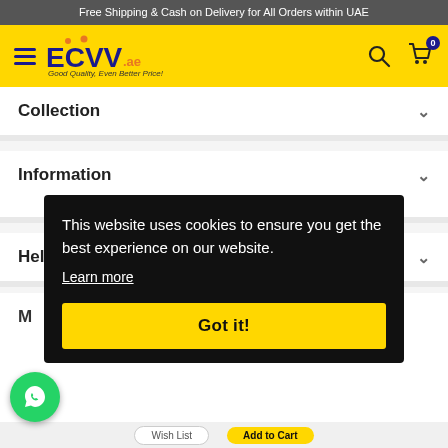Free Shipping & Cash on Delivery for All Orders within UAE
[Figure (logo): ECVV.ae logo with hamburger menu, search icon, and cart icon on yellow header bar]
Collection
Information
Help Center
M
This website uses cookies to ensure you get the best experience on our website.
Learn more
Got it!